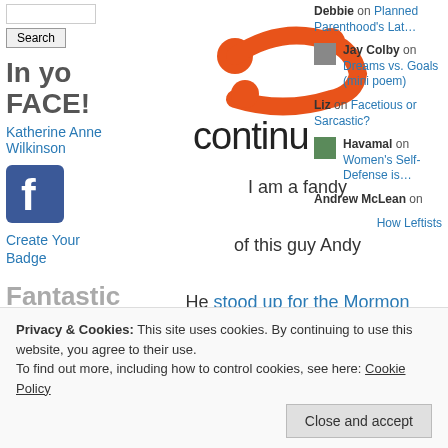Search
In yo FACE!
Katherine Anne Wilkinson
[Figure (logo): Facebook logo icon blue square with white f]
Create Your Badge
Fantastic Follower
[Figure (illustration): Fantastic Follower quilt badge pattern in dark red and white]
[Figure (logo): Continu logo — orange arrow/chevron shape above the word continu in dark text]
I am a fandy

of this guy Andy

He stood up for the Mormon Church

when a certain famous Reverend was being kinda a jerk..
Debbie on
Planned Parenthood's Lat…
Jay Colby on Dreams vs. Goals (mini poem)
Liz on Facetious or Sarcastic?
Havamal on Women's Self-Defense is…
Andrew McLean on
How Leftists
Privacy & Cookies: This site uses cookies. By continuing to use this website, you agree to their use.
To find out more, including how to control cookies, see here: Cookie Policy
Close and accept